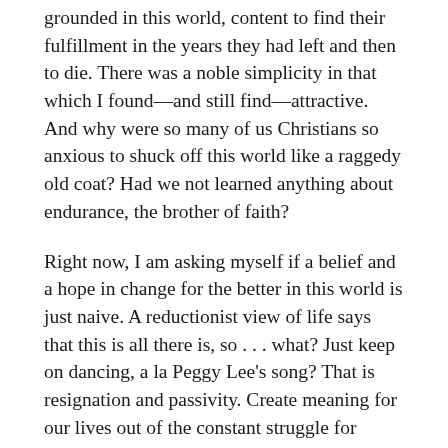grounded in this world, content to find their fulfillment in the years they had left and then to die. There was a noble simplicity in that which I found—and still find—attractive. And why were so many of us Christians so anxious to shuck off this world like a raggedy old coat? Had we not learned anything about endurance, the brother of faith?
Right now, I am asking myself if a belief and a hope in change for the better in this world is just naive. A reductionist view of life says that this is all there is, so . . . what? Just keep on dancing, a la Peggy Lee's song? That is resignation and passivity. Create meaning for our lives out of the constant struggle for survival? That is easier described than lived—it is the raw experience for millions of people—but it is more likely to wear people down, corrode their trust, and leave them cynical and